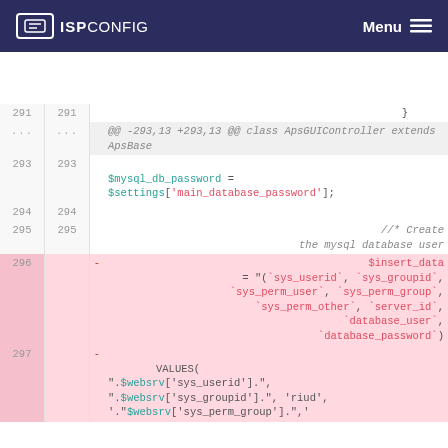ISPConfig  Menu
[Figure (screenshot): ISPConfig diff view showing PHP code changes. Line 291 shows closing brace. Lines ... show @@ -293,13 +293,13 @@ class ApsGUIController extends ApsBase. Line 293 shows $mysql_db_password = $settings['main_database_password'];. Lines 294-295 show blank and comment. Lines 296-297 show deleted lines with $insert_data SQL column list and VALUES clause.]